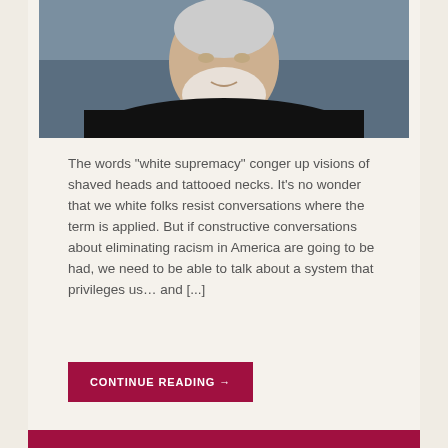[Figure (photo): Headshot of an older white man with a white beard wearing a black suit and grey tie, photographed against a blue-grey background.]
The words "white supremacy" conger up visions of shaved heads and tattooed necks. It's no wonder that we white folks resist conversations where the term is applied. But if constructive conversations about eliminating racism in America are going to be had, we need to be able to talk about a system that privileges us… and [...]
CONTINUE READING →